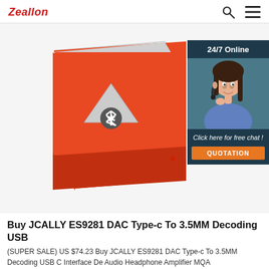Zeallon
[Figure (photo): Orange cube-shaped Bluetooth speaker with gray mesh top and Bluetooth symbol on front face. A 24/7 online chat widget with a customer service representative wearing a headset is overlaid on the right side of the image, with 'Click here for free chat!' text and an orange QUOTATION button.]
Buy JCALLY ES9281 DAC Type-c To 3.5MM Decoding USB
(SUPER SALE) US $74.23 Buy JCALLY ES9281 DAC Type-c To 3.5MM Decoding USB C Interface De Audio Headphone Amplifier MQA